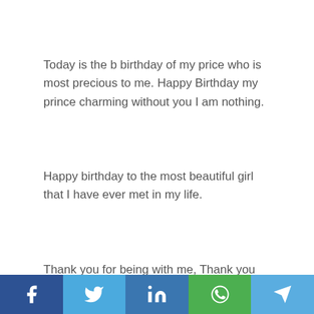Today is the b birthday of my price who is most precious to me. Happy Birthday my prince charming without you I am nothing.
Happy birthday to the most beautiful girl that I have ever met in my life.
Thank you for being with me, Thank you for
Social share bar: Facebook, Twitter, LinkedIn, WhatsApp, Telegram